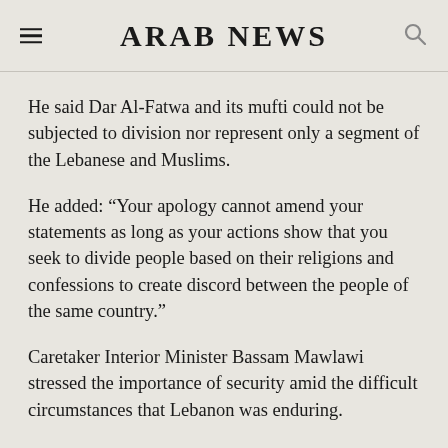ARAB NEWS
He said Dar Al-Fatwa and its mufti could not be subjected to division nor represent only a segment of the Lebanese and Muslims.
He added: “Your apology cannot amend your statements as long as your actions show that you seek to divide people based on their religions and confessions to create discord between the people of the same country.”
Caretaker Interior Minister Bassam Mawlawi stressed the importance of security amid the difficult circumstances that Lebanon was enduring.